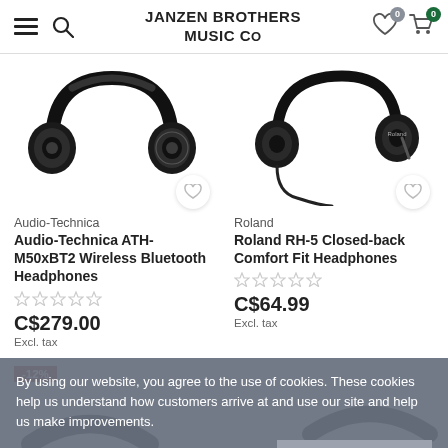JANZEN BROTHERS MUSIC Co
[Figure (photo): Audio-Technica ATH-M50x over-ear headphones, black, product photo on white background]
Audio-Technica
Audio-Technica ATH-M50xBT2 Wireless Bluetooth Headphones
C$279.00
Excl. tax
[Figure (photo): Roland RH-5 closed-back headphones, black, with cable visible, product photo on white background]
Roland
Roland RH-5 Closed-back Comfort Fit Headphones
C$64.99
Excl. tax
By using our website, you agree to the use of cookies. These cookies help us understand how customers arrive at and use our site and help us make improvements.
Hide this message
More on cookies »